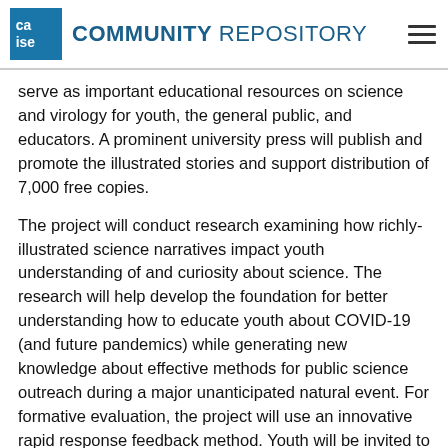COMMUNITY REPOSITORY
serve as important educational resources on science and virology for youth, the general public, and educators. A prominent university press will publish and promote the illustrated stories and support distribution of 7,000 free copies.
The project will conduct research examining how richly-illustrated science narratives impact youth understanding of and curiosity about science. The research will help develop the foundation for better understanding how to educate youth about COVID-19 (and future pandemics) while generating new knowledge about effective methods for public science outreach during a major unanticipated natural event. For formative evaluation, the project will use an innovative rapid response feedback method. Youth will be invited to provide timely, specific comments on the serialized stories through a curated portal. As new excerpts are related